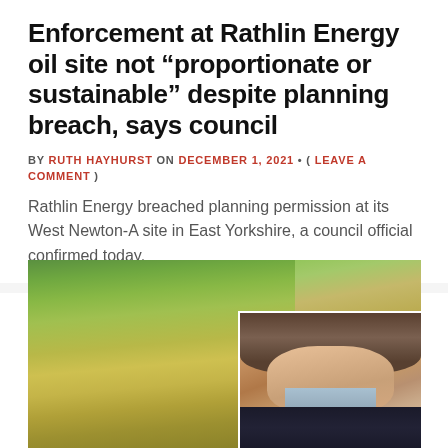Enforcement at Rathlin Energy oil site not “proportionate or sustainable” despite planning breach, says council
BY RUTH HAYHURST ON DECEMBER 1, 2021 • ( LEAVE A COMMENT )
Rathlin Energy breached planning permission at its West Newton-A site in East Yorkshire, a council official confirmed today.
[Figure (photo): Composite image: left side shows an overgrown grassy field site (West Newton-A), right side inset shows a man (council official) in a dark jacket with light blue shirt against a brick wall background.]